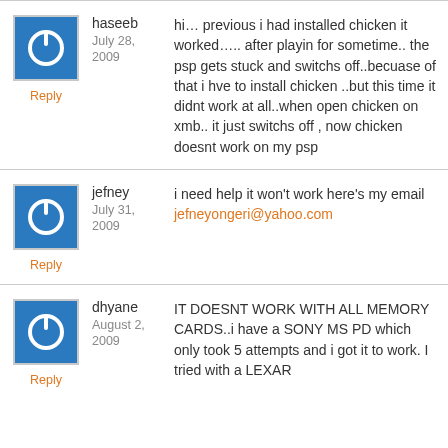[Figure (illustration): Blue square avatar with white power button icon]
haseeb
July 28, 2009
hi… previous i had installed chicken it worked….. after playin for sometime.. the psp gets stuck and switchs off..becuase of that i hve to install chicken ..but this time it didnt work at all..when open chicken on xmb.. it just switchs off , now chicken doesnt work on my psp
Reply
[Figure (illustration): Blue square avatar with white power button icon]
jefney
July 31, 2009
i need help it won't work here's my email jefneyongeri@yahoo.com
Reply
[Figure (illustration): Blue square avatar with white power button icon]
dhyane
August 2, 2009
IT DOESNT WORK WITH ALL MEMORY CARDS..i have a SONY MS PD which only took 5 attempts and i got it to work. I tried with a LEXAR
Reply